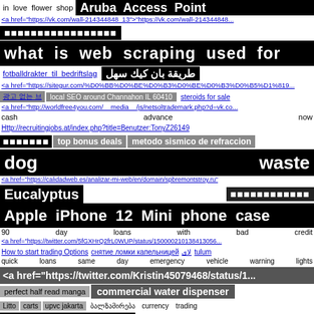in love flower shop   Aruba Access Point
<a href="https://vk.com/wall-214344848_13">"https://vk.com/wall-214344848...
█████████████████
what is web scraping used for
fotballdrakter_til_bedriftslag   طريقة بان كيك سهل
<a href="https://sitegur.com/%D0%BB%D0%BE%D0%B3%D0%BE%D0%B3%D0%B5%D1%819...
광고 없는 브    local SEO around Channahon IL 60410    steroids for sale
<a href="http://worldfree4you.com/__media__/js/netsoltrademark.php?d=vk.co...
cash                    advance                    now
Http://recruitingjobs.at/index.php?title=Benutzer:TonyZ26149
███████    top bonus deals    metodo sismico de refraccion
dog                                                  waste
<a href="https://calidadweb.es/analizar-mi-web/en/domain/spbremontstroy.ru"
Eucalyptus        ████████████
Apple iPhone 12 Mini phone case
90    day    loans    with    bad    credit
<a href="https://twitter.com/5fGXHrQ2frL0WUP/status/150000210138413056...
How to start trading Options   снятие ломки капельницей   لاي   tulum
quick    loans    same    day    emergency    vehicle    warning    lights
<a href="https://twitter.com/Kristin45079468/status/1...
perfect half read manga   commercial water dispenser
Litto   carts   upvc   jakarta    ბალზამირება    currency    trading
Full Shaded Lips Zürich    sonoma wedding photo booth